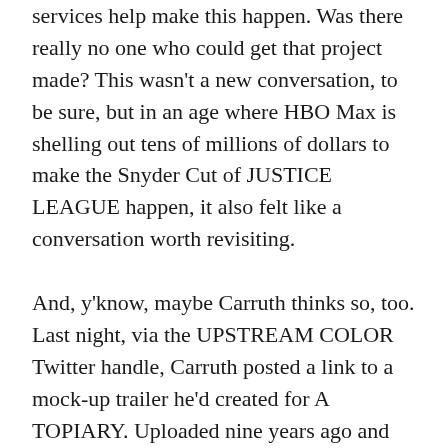services help make this happen. Was there really no one who could get that project made? This wasn't a new conversation, to be sure, but in an age where HBO Max is shelling out tens of millions of dollars to make the Snyder Cut of JUSTICE LEAGUE happen, it also felt like a conversation worth revisiting.

And, y'know, maybe Carruth thinks so, too. Last night, via the UPSTREAM COLOR Twitter handle, Carruth posted a link to a mock-up trailer he'd created for A TOPIARY. Uploaded nine years ago and featuring footage from older films (JURASSIC PARK, THE IRON GIANT, and DAYS OF HEAVEN among them) alongside some of the footage Carruth himself made to illustrate what A